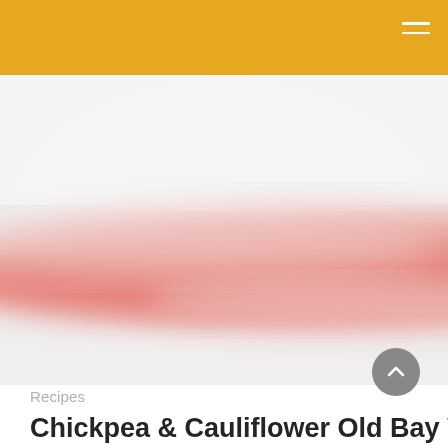[Figure (photo): Close-up blurred photo of a white bowl or plate with a curved salmon/coral-red stripe across it, likely a decorative rim or food element, on a white background.]
Recipes
Chickpea & Cauliflower Old Bay Veg